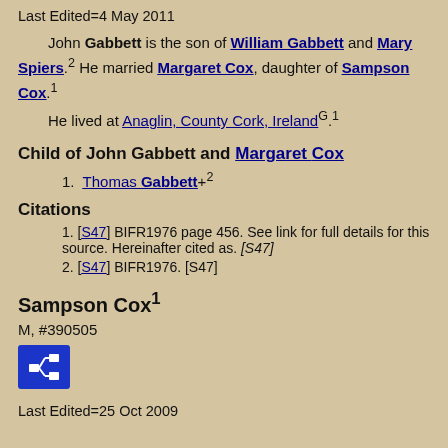Last Edited=4 May 2011
John Gabbett is the son of William Gabbett and Mary Spiers.2 He married Margaret Cox, daughter of Sampson Cox.1
He lived at Anaglin, County Cork, IrelandG.1
Child of John Gabbett and Margaret Cox
1. Thomas Gabbett+2
Citations
1. [S47] BIFR1976 page 456. See link for full details for this source. Hereinafter cited as. [S47]
2. [S47] BIFR1976. [S47]
Sampson Cox1
M, #390505
[Figure (other): Blue icon button with family tree / relationship diagram icon]
Last Edited=25 Oct 2009